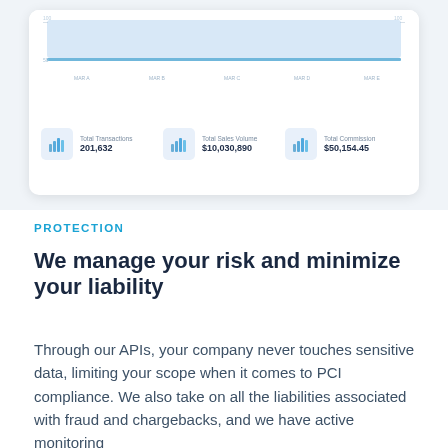[Figure (screenshot): Dashboard card screenshot showing a bar/line chart at top and three stat metrics below: Total Transactions 201,632 | Total Sales Volume $10,030,890 | Total Commission $50,154.45]
PROTECTION
We manage your risk and minimize your liability
Through our APIs, your company never touches sensitive data, limiting your scope when it comes to PCI compliance. We also take on all the liabilities associated with fraud and chargebacks, and we have active monitoring